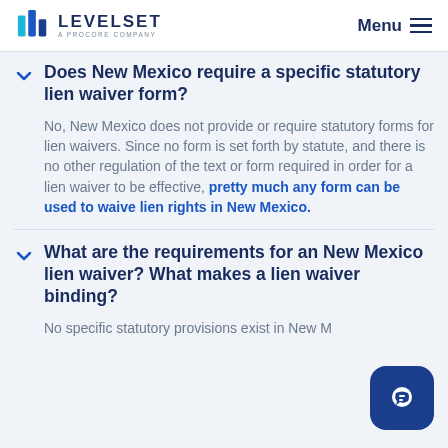LEVELSET — A PROCORE COMPANY | Menu
Does New Mexico require a specific statutory lien waiver form?
No, New Mexico does not provide or require statutory forms for lien waivers. Since no form is set forth by statute, and there is no other regulation of the text or form required in order for a lien waiver to be effective, pretty much any form can be used to waive lien rights in New Mexico.
What are the requirements for an New Mexico lien waiver? What makes a lien waiver binding?
No specific statutory provisions exist in New M…